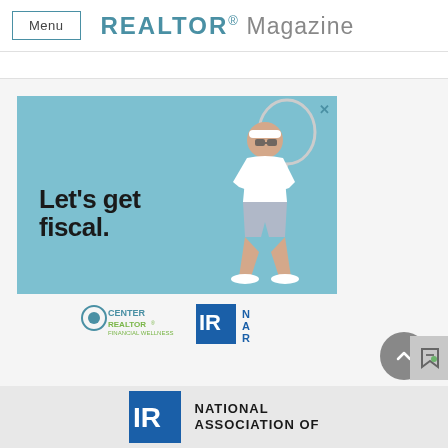Menu   REALTOR® Magazine
[Figure (illustration): Advertisement banner with light blue background showing a retro-styled man in tennis outfit holding a racket. Text reads 'Let's get fiscal.' with Center for REALTOR Financial Wellness and NAR logos below.]
[Figure (logo): Center REALTOR Financial Wellness logo and NAR (National Association of Realtors) IR block logo]
NATIONAL ASSOCIATION OF